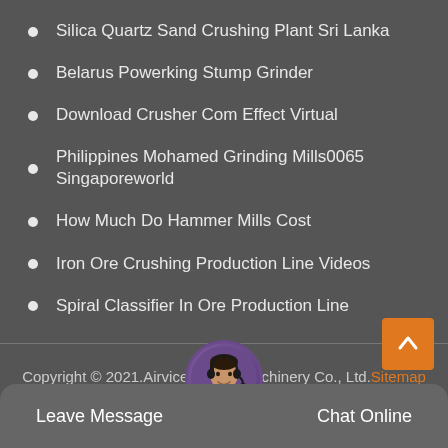Silica Quartz Sand Crushing Plant Sri Lanka
Belarus Powerking Stump Grinder
Download Crusher Com Effect Virtual
Philippines Mohamed Grinding Mills0065 Singaporeworld
How Much Do Hammer Mills Cost
Iron Ore Crushing Production Line Videos
Spiral Classifier In Ore Production Line
Copyright © 2021.Airvice Mining Machinery Co., Ltd.Sitemap
Leave Message
Chat Online